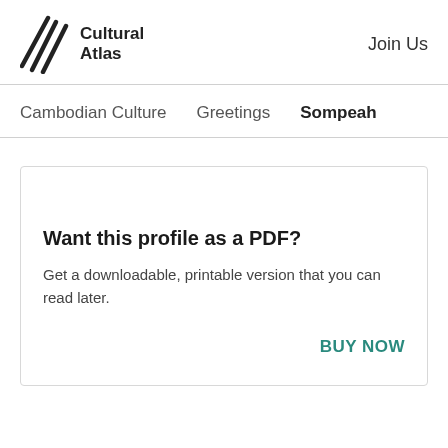Cultural Atlas   Join Us
Cambodian Culture   Greetings   Sompeah
Want this profile as a PDF?
Get a downloadable, printable version that you can read later.
BUY NOW